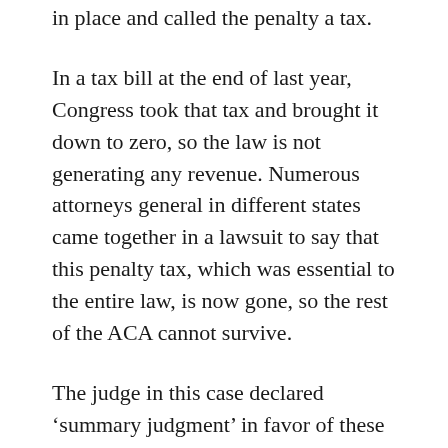in place and called the penalty a tax.
In a tax bill at the end of last year, Congress took that tax and brought it down to zero, so the law is not generating any revenue. Numerous attorneys general in different states came together in a lawsuit to say that this penalty tax, which was essential to the entire law, is now gone, so the rest of the ACA cannot survive.
The judge in this case declared ‘summary judgment’ in favor of these attorneys general, but he did not issue an injunction to stop the entire ACA. In the meantime the law continues ‘as-is’. It’s expected to be appealed.
How does Twila feel about the timing of this? After all, it came on the eve of the deadline of signing up for Obamacare and after Congress left. Can people get health care for an amount significantly less than a cell phone bill